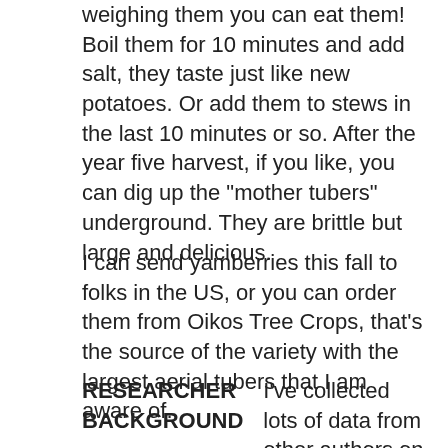weighing them you can eat them! Boil them for 10 minutes and add salt, they taste just like new potatoes. Or add them to stews in the last 10 minutes or so. After the year five harvest, if you like, you can dig up the "mother tubers" underground. They are brittle but large and delicious.
I can send yamberries this fall to folks in the US, or you can order them from Oikos Tree Crops, that's the source of the variety with the largest aerial tubers that I am aware of.
RESEARCHER BACKGROUND
I've collected lots of data from other authors on the yields of perennial